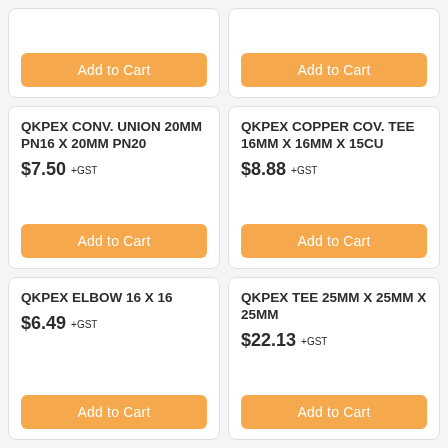Add to Cart
Add to Cart
QKPEX CONV. UNION 20MM PN16 X 20MM PN20
$7.50 +GST
Add to Cart
QKPEX COPPER COV. TEE 16MM X 16MM X 15CU
$8.88 +GST
Add to Cart
QKPEX ELBOW 16 X 16
$6.49 +GST
Add to Cart
QKPEX TEE 25MM X 25MM X 25MM
$22.13 +GST
Add to Cart